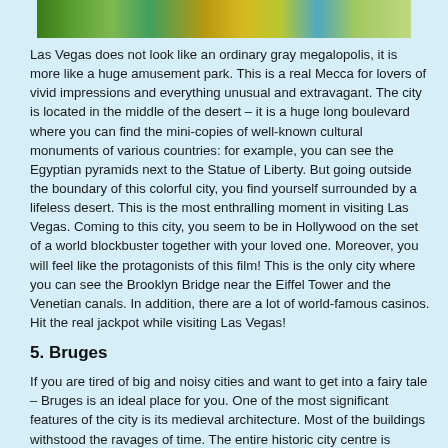[Figure (photo): Partial strip of a Las Vegas scene with colorful lights and decorations]
Las Vegas does not look like an ordinary gray megalopolis, it is more like a huge amusement park. This is a real Mecca for lovers of vivid impressions and everything unusual and extravagant. The city is located in the middle of the desert – it is a huge long boulevard where you can find the mini-copies of well-known cultural monuments of various countries: for example, you can see the Egyptian pyramids next to the Statue of Liberty. But going outside the boundary of this colorful city, you find yourself surrounded by a lifeless desert. This is the most enthralling moment in visiting Las Vegas. Coming to this city, you seem to be in Hollywood on the set of a world blockbuster together with your loved one. Moreover, you will feel like the protagonists of this film! This is the only city where you can see the Brooklyn Bridge near the Eiffel Tower and the Venetian canals. In addition, there are a lot of world-famous casinos. Hit the real jackpot while visiting Las Vegas!
5. Bruges
If you are tired of big and noisy cities and want to get into a fairy tale – Bruges is an ideal place for you. One of the most significant features of the city is its medieval architecture. Most of the buildings withstood the ravages of time. The entire historic city centre is designated a UNESCO World Heritage Site. One of